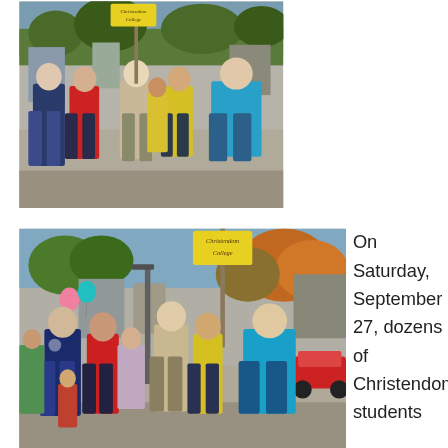[Figure (photo): Photo of a group of young people walking in a pro-life march on a street. A person in the center holds a yellow sign. People wear various colored shirts including red, yellow, blue. Trees and buildings visible in background.]
[Figure (photo): Second photo of the same march from a wider angle showing more participants. A yellow 'Christendom College' sign is visible being held up. A pink balloon, teal balloon, trees with fall foliage, and a red car in background.]
On Saturday, September 27, dozens of Christendom students supported the pro-life cause at the Front Royal